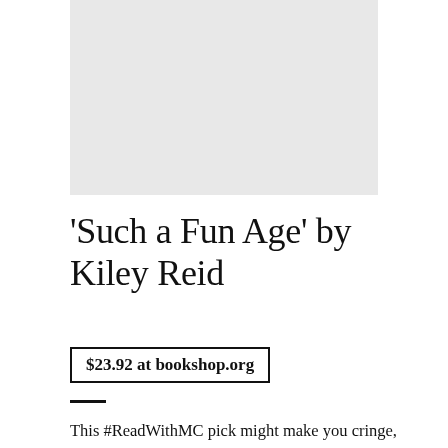[Figure (other): Book cover image placeholder, light gray background]
'Such a Fun Age' by Kiley Reid
$23.92 at bookshop.org
This #ReadWithMC pick might make you cringe, but that's the point. When white blogger Alix Chamberlain calls her Black babysitter, Emira, asking her to take toddler Briar to the market for a late-night distraction, an event occurs that kicks off a series of events that will change their lives forever. This novel from Reid tackles the discussion of white privilege head-on, featuring fresh dialogue and characters you come in contact with in everyday life.